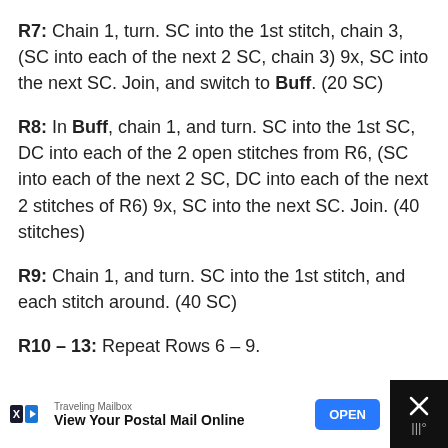R7: Chain 1, turn. SC into the 1st stitch, chain 3, (SC into each of the next 2 SC, chain 3) 9x, SC into the next SC. Join, and switch to Buff. (20 SC)
R8: In Buff, chain 1, and turn. SC into the 1st SC, DC into each of the 2 open stitches from R6, (SC into each of the next 2 SC, DC into each of the next 2 stitches of R6) 9x, SC into the next SC. Join. (40 stitches)
R9: Chain 1, and turn. SC into the 1st stitch, and each stitch around. (40 SC)
R10 – 13: Repeat Rows 6 – 9.
R14: Chain 1, turn. SC into the 1st SC, and each around. (40 SC)